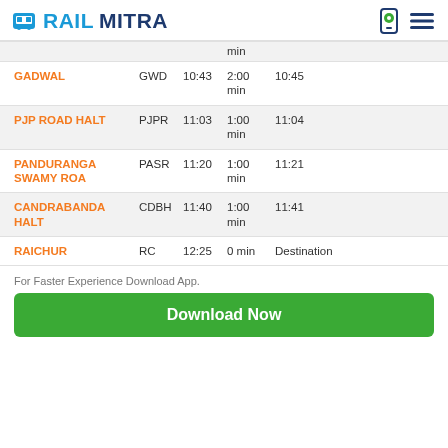RAILMITRA
| Station | Code | Arrival | Halt | Departure |
| --- | --- | --- | --- | --- |
|  |  |  | min |  |
| GADWAL | GWD | 10:43 | 2:00 min | 10:45 |
| PJP ROAD HALT | PJPR | 11:03 | 1:00 min | 11:04 |
| PANDURANGA SWAMY ROA | PASR | 11:20 | 1:00 min | 11:21 |
| CANDRABANDA HALT | CDBH | 11:40 | 1:00 min | 11:41 |
| RAICHUR | RC | 12:25 | 0 min | Destination |
For Faster Experience Download App.
Download Now